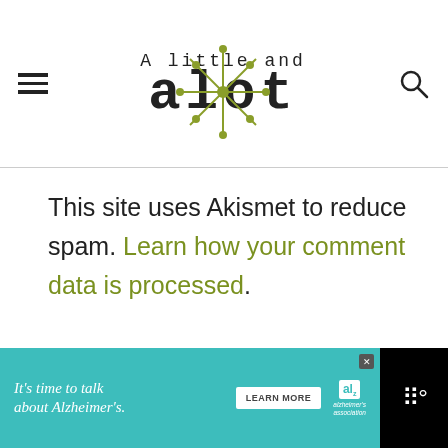A Little and alot — site header with logo, hamburger menu, and search icon
This site uses Akismet to reduce spam. Learn how your comment data is processed.
[Figure (photo): Partial photo of a person's head with dark hair, shown from behind/side, light gray background]
[Figure (screenshot): Advertisement banner: It's time to talk about Alzheimer's. LEARN MORE. Alzheimer's Association logo.]